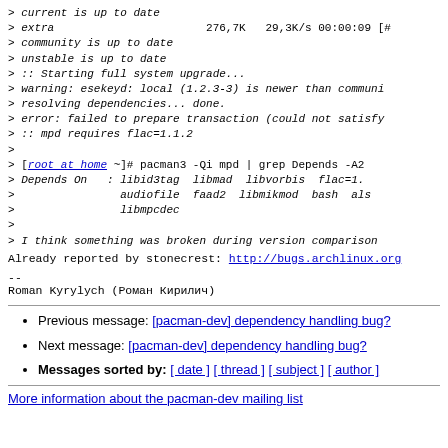> current is up to date
> extra                        276,7K   29,3K/s 00:00:09 [#
> community is up to date
> unstable is up to date
> :: Starting full system upgrade...
> warning: esekeyd: local (1.2.3-3) is newer than communi
> resolving dependencies... done.
> error: failed to prepare transaction (could not satisfy
> :: mpd requires flac=1.1.2
>
> [root at home ~]# pacman3 -Qi mpd | grep Depends -A2
> Depends On : libid3tag libmad libvorbis flac=1.
>              audiofile faad2 libmikmod bash als
>              libmpcdec
>
> I think something was broken during version comparison
Already reported by stonecrest: http://bugs.archlinux.org
--
Roman Kyrylych (Роман Кирилич)
Previous message: [pacman-dev] dependency handling bug?
Next message: [pacman-dev] dependency handling bug?
Messages sorted by: [ date ] [ thread ] [ subject ] [ author ]
More information about the pacman-dev mailing list